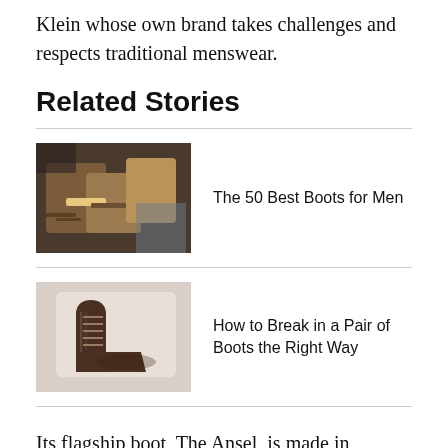Klein whose own brand takes challenges and respects traditional menswear.
Related Stories
[Figure (photo): Overhead view of multiple leather boots in brown and tan tones]
The 50 Best Boots for Men
[Figure (photo): Dark brown lace-up leather boots on a light background]
How to Break in a Pair of Boots the Right Way
Its flagship boot, The Ansel, is made in Northern Italy in a region known for its traditional shoemaking. The two were lucky enough to find a factory that was willing to step outside of its